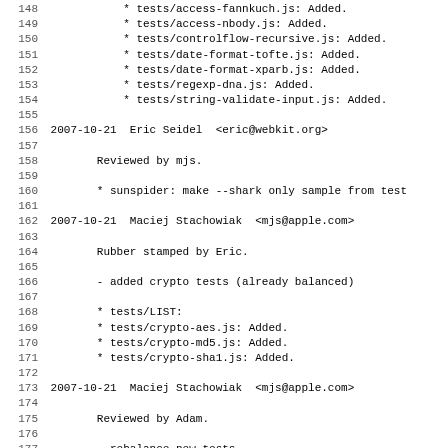148         * tests/access-fannkuch.js: Added.
149         * tests/access-nbody.js: Added.
150         * tests/controlflow-recursive.js: Added.
151         * tests/date-format-tofte.js: Added.
152         * tests/date-format-xparb.js: Added.
153         * tests/regexp-dna.js: Added.
154         * tests/string-validate-input.js: Added.
155
156 2007-10-21  Eric Seidel  <eric@webkit.org>
157
158         Reviewed by mjs.
159
160         * sunspider: make --shark only sample from test
161
162 2007-10-21  Maciej Stachowiak  <mjs@apple.com>
163
164         Rubber stamped by Eric.
165
166         - added crypto tests (already balanced)
167
168         * tests/LIST:
169         * tests/crypto-aes.js: Added.
170         * tests/crypto-md5.js: Added.
171         * tests/crypto-sha1.js: Added.
172
173 2007-10-21  Maciej Stachowiak  <mjs@apple.com>
174
175         Reviewed by Adam.
176
177         - rebalance new tests
178
179         Scaled the new tests so they take 400-600ms on